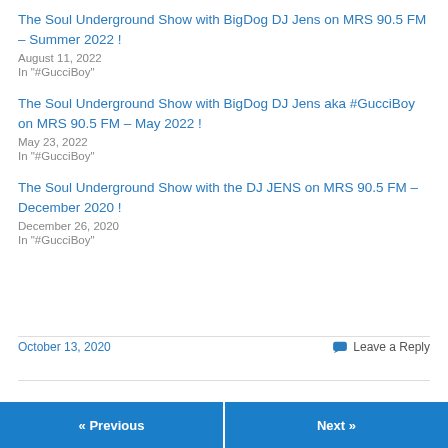The Soul Underground Show with BigDog DJ Jens on MRS 90.5 FM – Summer 2022 !
August 11, 2022
In "#GucciBoy"
The Soul Underground Show with BigDog DJ Jens aka #GucciBoy on MRS 90.5 FM – May 2022 !
May 23, 2022
In "#GucciBoy"
The Soul Underground Show with the DJ JENS on MRS 90.5 FM – December 2020 !
December 26, 2020
In "#GucciBoy"
October 13, 2020
Leave a Reply
« Previous
Next »